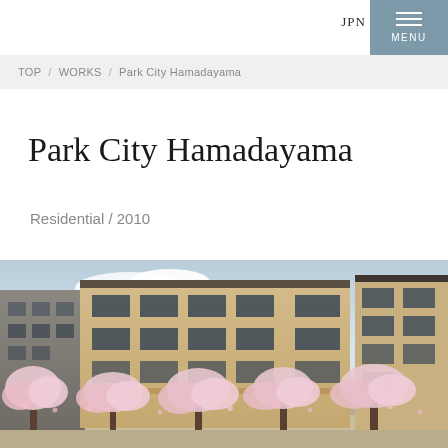JPN  MENU
TOP / WORKS / Park City Hamadayama
Park City Hamadayama
Residential / 2010
[Figure (photo): Exterior photograph of Park City Hamadayama residential complex showing multi-storey brick buildings with large windows, surrounded by cherry blossom trees in bloom under a partly cloudy sky.]